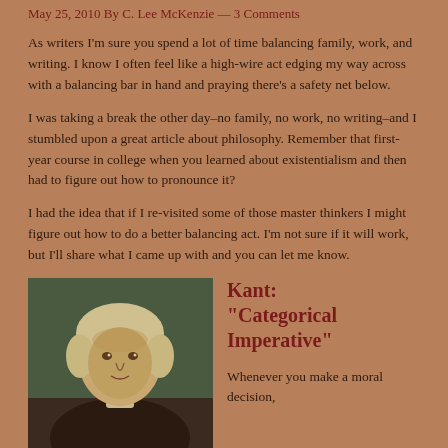May 25, 2010 By C. Lee McKenzie — 3 Comments
As writers I'm sure you spend a lot of time balancing family, work, and writing. I know I often feel like a high-wire act edging my way across with a balancing bar in hand and praying there's a safety net below.
I was taking a break the other day–no family, no work, no writing–and I stumbled upon a great article about philosophy. Remember that first-year course in college when you learned about existentialism and then had to figure out how to pronounce it?
I had the idea that if I re-visited some of those master thinkers I might figure out how to do a better balancing act. I'm not sure if it will work, but I'll share what I came up with and you can let me know.
[Figure (photo): Old portrait painting of a person, likely Immanuel Kant, showing head and shoulders with period clothing against a dark background.]
Kant: "Categorical Imperative"
Whenever you make a moral decision,